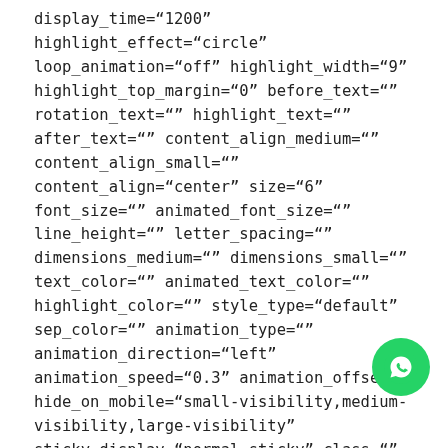display_time="1200" highlight_effect="circle" loop_animation="off" highlight_width="9" highlight_top_margin="0" before_text="" rotation_text="" highlight_text="" after_text="" content_align_medium="" content_align_small="" content_align="center" size="6" font_size="" animated_font_size="" line_height="" letter_spacing="" dimensions_medium="" dimensions_small="" text_color="" animated_text_color="" highlight_color="" style_type="default" sep_color="" animation_type="" animation_direction="left" animation_speed="0.3" animation_offset="" hide_on_mobile="small-visibility,medium-visibility,large-visibility" sticky_display="normal,sticky" class="" id="" fusion_font_variant_title_font="" margin_bottom="4px" margin_top="12px" margin_bottom_small="4px"
[Figure (other): WhatsApp contact button (green circle with WhatsApp phone/chat icon)]